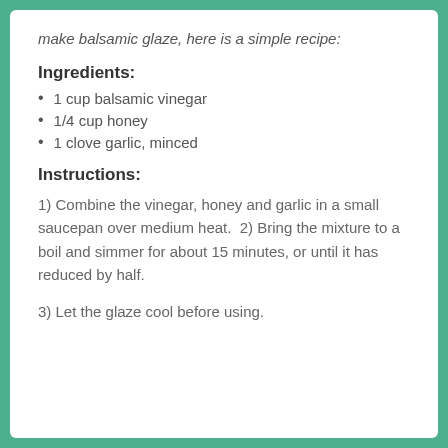make balsamic glaze, here is a simple recipe:
Ingredients:
1 cup balsamic vinegar
1/4 cup honey
1 clove garlic, minced
Instructions:
1) Combine the vinegar, honey and garlic in a small saucepan over medium heat.  2) Bring the mixture to a boil and simmer for about 15 minutes, or until it has reduced by half.
3) Let the glaze cool before using.